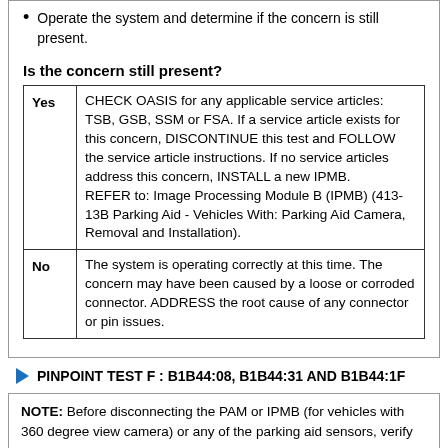Operate the system and determine if the concern is still present.
Is the concern still present?
|  |  |
| --- | --- |
| Yes | CHECK OASIS for any applicable service articles: TSB, GSB, SSM or FSA. If a service article exists for this concern, DISCONTINUE this test and FOLLOW the service article instructions. If no service articles address this concern, INSTALL a new IPMB.
REFER to: Image Processing Module B (IPMB) (413-13B Parking Aid - Vehicles With: Parking Aid Camera, Removal and Installation). |
| No | The system is operating correctly at this time. The concern may have been caused by a loose or corroded connector. ADDRESS the root cause of any connector or pin issues. |
PINPOINT TEST F : B1B44:08, B1B44:31 AND B1B44:1F
NOTE: Before disconnecting the PAM or IPMB (for vehicles with 360 degree view camera) or any of the parking aid sensors, verify the connectors are properly seated and latched.